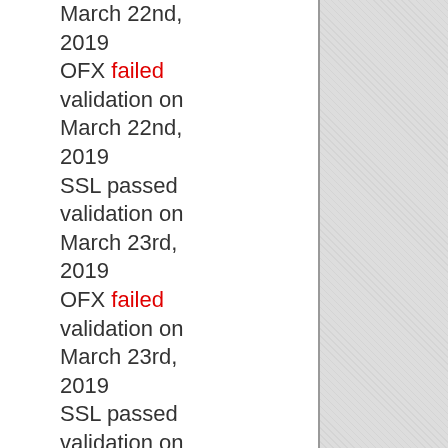March 22nd, 2019
OFX failed validation on March 22nd, 2019
SSL passed validation on March 23rd, 2019
OFX failed validation on March 23rd, 2019
SSL passed validation on March 24th, 2019
OFX failed